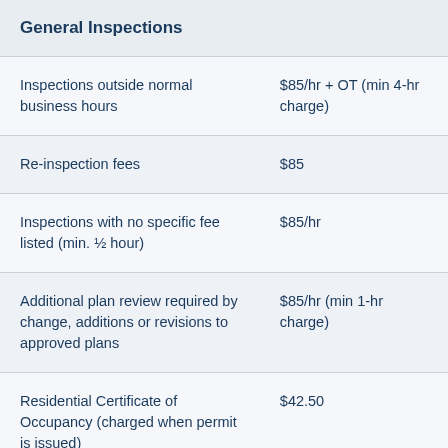| General Inspections |  |
| --- | --- |
| Inspections outside normal business hours | $85/hr + OT (min 4-hr charge) |
| Re-inspection fees | $85 |
| Inspections with no specific fee listed (min. ½ hour) | $85/hr |
| Additional plan review required by change, additions or revisions to approved plans | $85/hr (min 1-hr charge) |
| Residential Certificate of Occupancy (charged when permit is issued) | $42.50 |